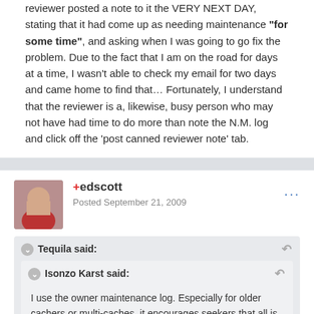reviewer posted a note to it the VERY NEXT DAY, stating that it had come up as needing maintenance "for some time", and asking when I was going to go fix the problem. Due to the fact that I am on the road for days at a time, I wasn't able to check my email for two days and came home to find that... Fortunately, I understand that the reviewer is a, likewise, busy person who may not have had time to do more than note the N.M. log and click off the 'post canned reviewer note' tab.
+edscott
Posted September 21, 2009
Tequila said:
Isonzo Karst said:
I use the owner maintenance log. Especially for older cachers or multi-caches, it encourages seekers that all is well with the hide.